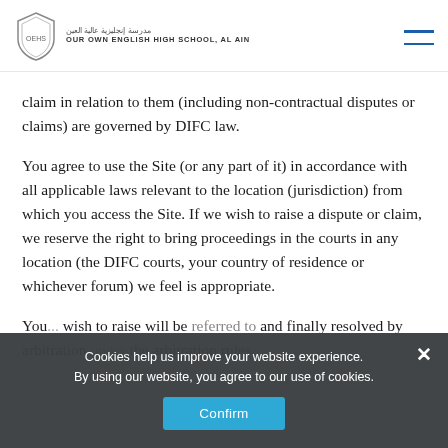OUR OWN ENGLISH HIGH SCHOOL, AL AIN
claim in relation to them (including non-contractual disputes or claims) are governed by DIFC law.
You agree to use the Site (or any part of it) in accordance with all applicable laws relevant to the location (jurisdiction) from which you access the Site. If we wish to raise a dispute or claim, we reserve the right to bring proceedings in the courts in any location (the DIFC courts, your country of residence or whichever forum) we feel is appropriate.
You... wish to raise will be referred to and finally resolved by arbitration under the arbitration rules
Cookies help us improve your website experience. By using our website, you agree to our use of cookies.